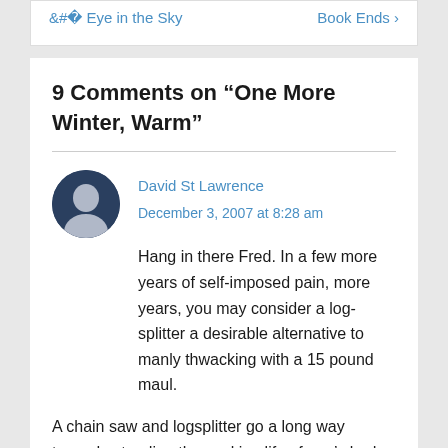< Eye in the Sky    Book Ends >
9 Comments on “One More Winter, Warm”
David St Lawrence
December 3, 2007 at 8:28 am
Hang in there Fred. In a few more years of self-imposed pain, more years, you may consider a log-splitter a desirable alternative to manly thwacking with a 15 pound maul.

A chain saw and logsplitter go a long way toward extending the working life of one’s body.